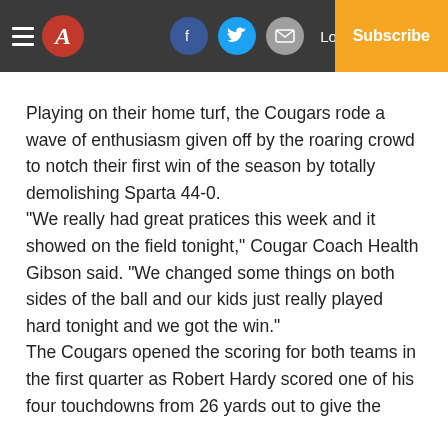Navigation bar with hamburger menu, A logo, Facebook, Twitter, Email buttons, Log In, Subscribe
Playing on their home turf, the Cougars rode a wave of enthusiasm given off by the roaring crowd to notch their first win of the season by totally demolishing Sparta 44-0. "We really had great pratices this week and it showed on the field tonight," Cougar Coach Health Gibson said. "We changed some things on both sides of the ball and our kids just really played hard tonight and we got the win." The Cougars opened the scoring for both teams in the first quarter as Robert Hardy scored one of his four touchdowns from 26 yards out to give the